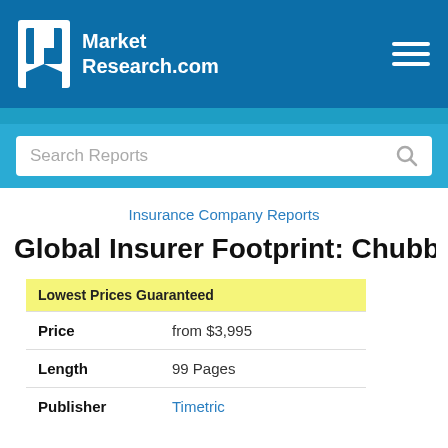Market Research.com
Search Reports
Insurance Company Reports
Global Insurer Footprint: Chubb Ltd
|  |  |
| --- | --- |
| Lowest Prices Guaranteed |  |
| Price | from $3,995 |
| Length | 99 Pages |
| Publisher | Timetric |